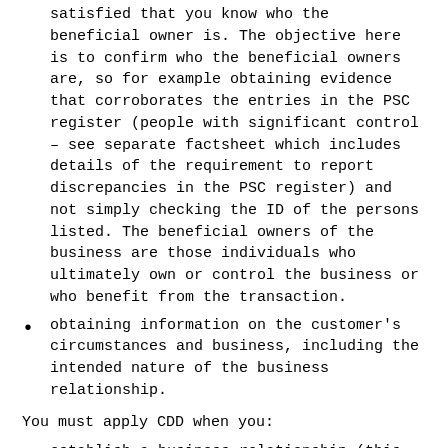The objective here is to confirm who the beneficial owners are, so for example obtaining evidence that corroborates the entries in the PSC register (people with significant control – see separate factsheet which includes details of the requirement to report discrepancies in the PSC register) and not simply checking the ID of the persons listed. The beneficial owners of the business are those individuals who ultimately own or control the business or who benefit from the transaction.
obtaining information on the customer's circumstances and business, including the intended nature of the business relationship.
You must apply CDD when you:
establish a business relationship (this now includes forming a company for the customer)
carry out an occasional transaction that amounts to a transfer of funds exceeding €1,000